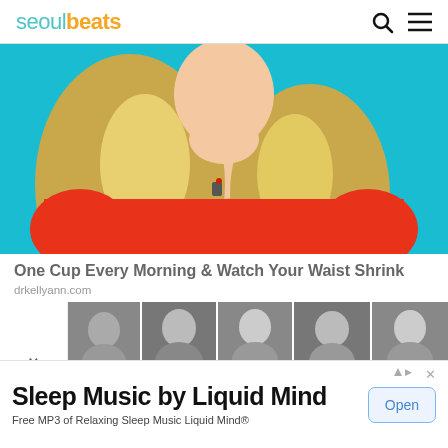seoulbeats
[Figure (photo): Close-up photo of a blonde woman in a red top with a microphone clip, turquoise background]
One Cup Every Morning & Watch Your Waist Shrink
drkellyann.com
[Figure (photo): Horizontal strip of black-and-white thumbnail photos of women]
[Figure (other): Advertisement banner: Sleep Music by Liquid Mind — Free MP3 of Relaxing Sleep Music Liquid Mind® — Open button]